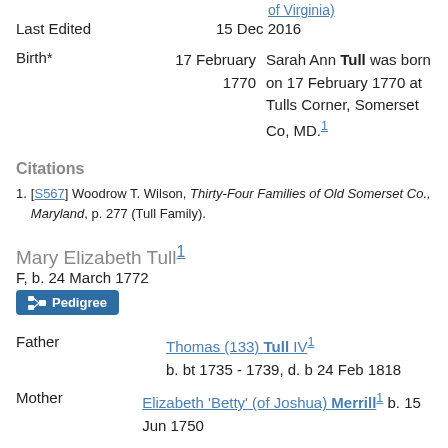of Virginia)
Last Edited   15 Dec 2016
Birth*   17 February 1770   Sarah Ann Tull was born on 17 February 1770 at Tulls Corner, Somerset Co, MD.[1]
Citations
1. [S567] Woodrow T. Wilson, Thirty-Four Families of Old Somerset Co., Maryland, p. 277 (Tull Family).
Mary Elizabeth Tull[1]
F, b. 24 March 1772
Pedigree
Father   Thomas (133) Tull IV[1]   b. bt 1735 - 1739, d. b 24 Feb 1818
Mother   Elizabeth 'Betty' (of Joshua) Merrill[1]   b. 15 Jun 1750